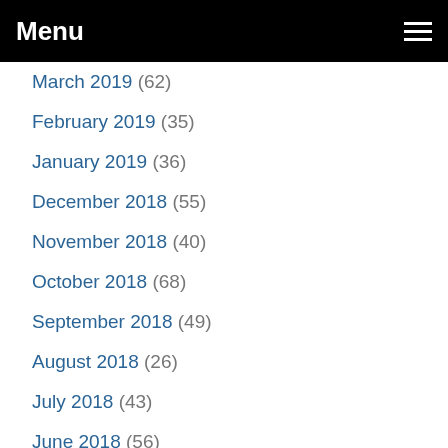Menu
March 2019 (62)
February 2019 (35)
January 2019 (36)
December 2018 (55)
November 2018 (40)
October 2018 (68)
September 2018 (49)
August 2018 (26)
July 2018 (43)
June 2018 (56)
May 2018 (75)
April 2018 (58)
March 2018 (68)
February 2018 (68)